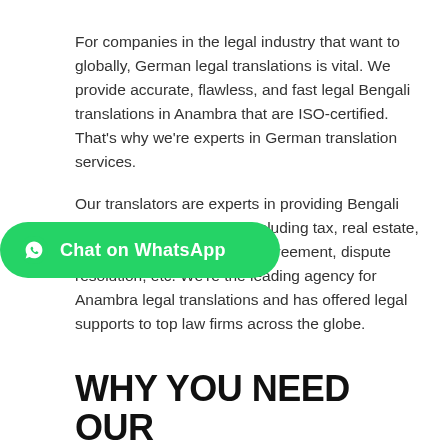For companies in the legal industry that want to globally, German legal translations is vital. We provide accurate, flawless, and fast legal Bengali translations in Anambra that are ISO-certified. That's why we're experts in German translation services.
Our translators are experts in providing Bengali legal translation in areas including tax, real estate, intellectual property, lease agreement, dispute resolution, etc. We're the leading agency for Anambra legal translations and has offered legal supports to top law firms across the globe.
[Figure (other): Green WhatsApp chat button with WhatsApp logo icon and text 'Chat on WhatsApp']
WHY YOU NEED OUR